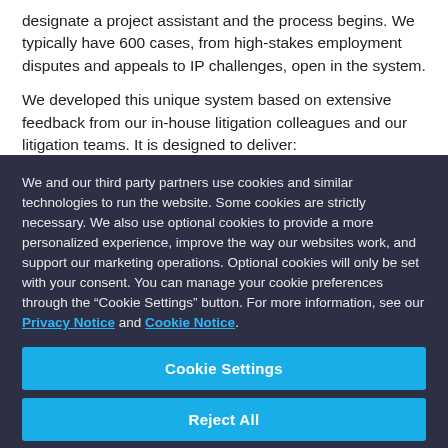designate a project assistant and the process begins. We typically have 600 cases, from high-stakes employment disputes and appeals to IP challenges, open in the system.
We developed this unique system based on extensive feedback from our in-house litigation colleagues and our litigation teams. It is designed to deliver:
We and our third party partners use cookies and similar technologies to run the website. Some cookies are strictly necessary. We also use optional cookies to provide a more personalized experience, improve the way our websites work, and support our marketing operations. Optional cookies will only be set with your consent. You can manage your cookie preferences through the “Cookie Settings” button. For more information, see our Privacy Notice and Cookie Notice.
Cookie Settings
Reject All